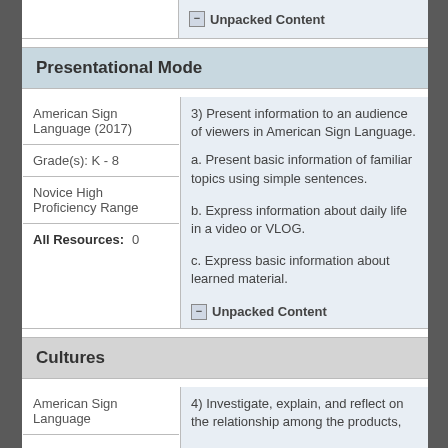Unpacked Content
Presentational Mode
|  |  |
| --- | --- |
| American Sign Language (2017) | 3) Present information to an audience of viewers in American Sign Language.
a. Present basic information of familiar topics using simple sentences.
b. Express information about daily life in a video or VLOG.
c. Express basic information about learned material.
Unpacked Content |
| Grade(s): K - 8 |  |
| Novice High Proficiency Range |  |
| All Resources: 0 |  |
Cultures
|  |  |
| --- | --- |
| American Sign Language | 4) Investigate, explain, and reflect on the relationship among the products, |